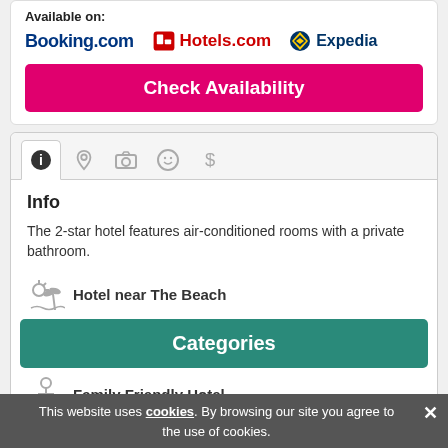Available on:
[Figure (logo): Booking.com, Hotels.com, and Expedia logos]
Check Availability
[Figure (infographic): Tab bar with info, location, camera, smiley, and dollar icons — info tab active]
Info
The 2-star hotel features air-conditioned rooms with a private bathroom.
Hotel near The Beach
Hotel for Honeymoon
Family Friendly Hotel
Show more ▾
Categories
This website uses cookies. By browsing our site you agree to the use of cookies.